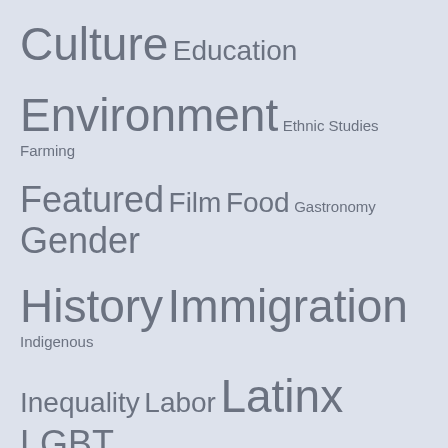[Figure (other): Tag cloud showing various topic categories in different font sizes reflecting their relative frequency or importance. Tags include: Culture, Education, Environment, Ethnic Studies, Farming, Featured, Film, Food, Gastronomy, Gender, History, Immigration, Indigenous, Inequality, Labor, Latinx, LGBT, Literature, Media, Music, Native Americans, NorCal, Oaxaca, Orange County, Photography, Place, Politics, Postcolonial, Poverty, Prisons, Race, Religion, Review, Science, Social Justice, Social Movements, Technology.]